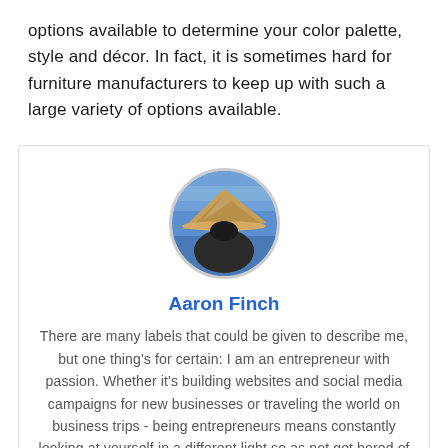options available to determine your color palette, style and décor. In fact, it is sometimes hard for furniture manufacturers to keep up with such a large variety of options available.
[Figure (photo): Circular profile photo of a person wearing a Vietnamese conical hat, with blue sky and water in the background.]
Aaron Finch
There are many labels that could be given to describe me, but one thing's for certain: I am an entrepreneur with passion. Whether it's building websites and social media campaigns for new businesses or traveling the world on business trips - being entrepreneurs means constantly looking at yourself in a different light so as not get bored of your own success!